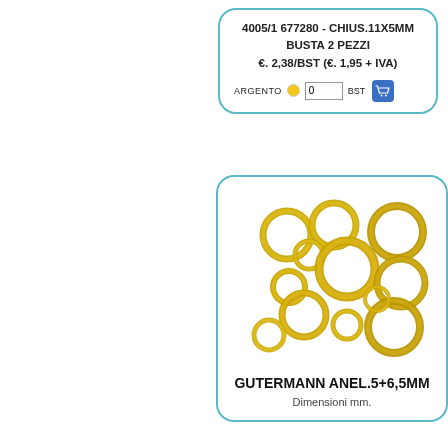4005/1 677280 - CHIUS.11X5MM
BUSTA 2 PEZZI
€. 2,38/BST (€. 1,95 + IVA)
ARGENTO  BST  0
[Figure (photo): Photo of multiple gold-colored metal jump rings of two sizes (5mm and 6.5mm) scattered on white background]
GUTERMANN ANEL.5+6,5MM
Dimensioni mm.